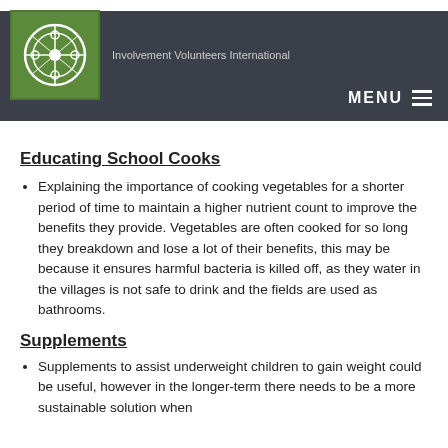Involvement Volunteers International | MENU
Educating School Cooks
Explaining the importance of cooking vegetables for a shorter period of time to maintain a higher nutrient count to improve the benefits they provide. Vegetables are often cooked for so long they breakdown and lose a lot of their benefits, this may be because it ensures harmful bacteria is killed off, as they water in the villages is not safe to drink and the fields are used as bathrooms.
Supplements
Supplements to assist underweight children to gain weight could be useful, however in the longer-term there needs to be a more sustainable solution when